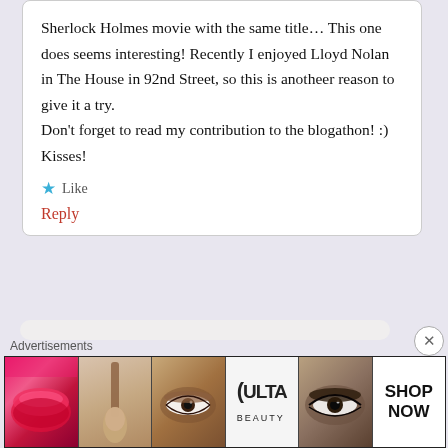Sherlock Holmes movie with the same title… This one does seems interesting! Recently I enjoyed Lloyd Nolan in The House in 92nd Street, so this is anotheer reason to give it a try.
Don't forget to read my contribution to the blogathon! :)
Kisses!
Like
Reply
Advertisements
[Figure (photo): Advertisement banner strip showing beauty/makeup images: red lips with lipstick, makeup brush, eye with brown eyeshadow, Ulta Beauty logo, smoky eye, and SHOP NOW text on white background.]